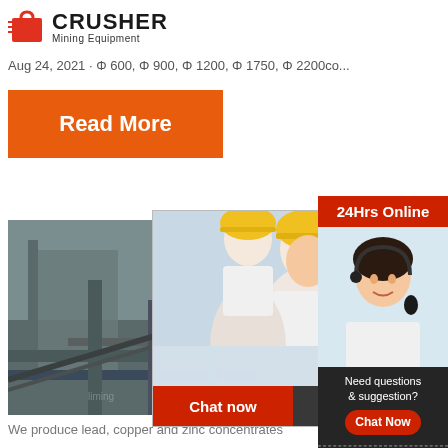[Figure (logo): Crusher Mining Equipment logo with red shopping bag icon and bold CRUSHER text]
Aug 24, 2021 · Φ 600, Φ 900, Φ 1200, Φ 1750, Φ 2200co...
Read More
[Figure (photo): Industrial mining facility with pipes and machinery]
[Figure (photo): Live Chat popup overlay showing workers in yellow hard hats with LIVE CHAT text, Click for a Free Consultation, Chat now and Chat later buttons]
Comp
We produce lead, copper and zinc concentrates
Read More
[Figure (infographic): Right sidebar with 24Hrs Online header, customer service agent photo, Need questions & suggestion section, Chat Now button, Enquiry link, and limingjlmofen@sina.com email]